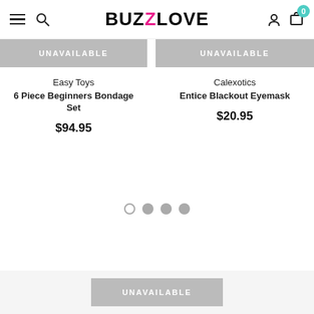BUZZLOVE
[Figure (screenshot): Product card: Easy Toys 6 Piece Beginners Bondage Set with UNAVAILABLE button, $94.95]
[Figure (screenshot): Product card: Calexotics Entice Blackout Eyemask with UNAVAILABLE button, $20.95]
[Figure (other): Carousel pagination dots: 4 dots, first empty/outline, rest filled gray]
[Figure (other): Bottom UNAVAILABLE button bar]